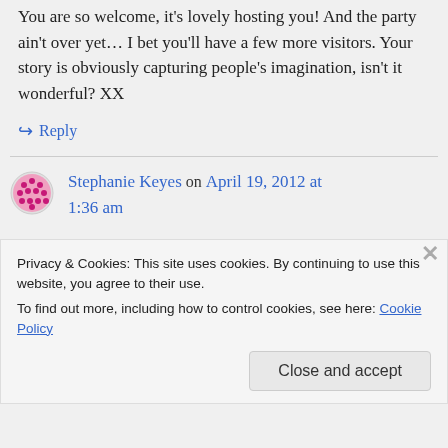You are so welcome, it's lovely hosting you! And the party ain't over yet… I bet you'll have a few more visitors. Your story is obviously capturing people's imagination, isn't it wonderful? XX
↪ Reply
Stephanie Keyes on April 19, 2012 at 1:36 am
Privacy & Cookies: This site uses cookies. By continuing to use this website, you agree to their use. To find out more, including how to control cookies, see here: Cookie Policy